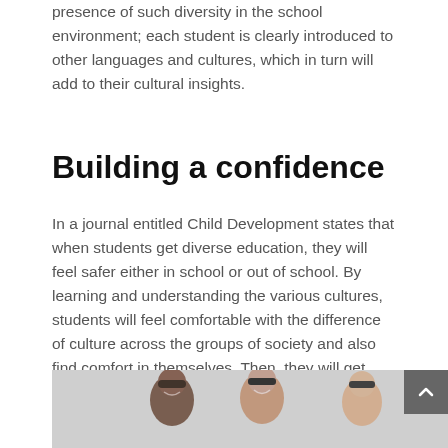presence of such diversity in the school environment; each student is clearly introduced to other languages and cultures, which in turn will add to their cultural insights.
Building a confidence
In a journal entitled Child Development states that when students get diverse education, they will feel safer either in school or out of school. By learning and understanding the various cultures, students will feel comfortable with the difference of culture across the groups of society and also find comfort in themselves. Then, they will get self-confidence and safety more.
[Figure (photo): Group of young male students smiling, including students of diverse ethnic backgrounds, outdoors.]